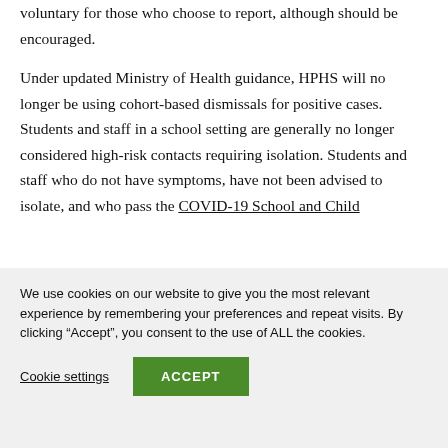self-reporting positive COVID-19 test results is voluntary for those who choose to report, although should be encouraged.
Under updated Ministry of Health guidance, HPHS will no longer be using cohort-based dismissals for positive cases. Students and staff in a school setting are generally no longer considered high-risk contacts requiring isolation. Students and staff who do not have symptoms, have not been advised to isolate, and who pass the COVID-19 School and Child
We use cookies on our website to give you the most relevant experience by remembering your preferences and repeat visits. By clicking “Accept”, you consent to the use of ALL the cookies.